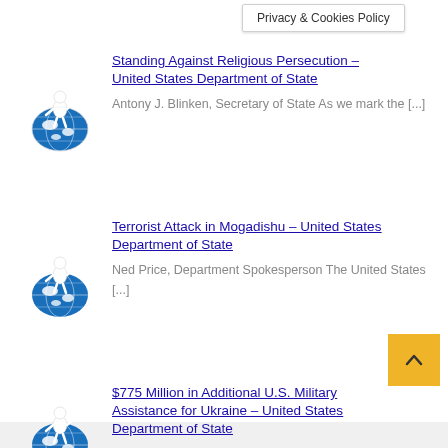Privacy & Cookies Policy
Standing Against Religious Persecution – United States Department of State
Antony J. Blinken, Secretary of State As we mark the [...]
Terrorist Attack in Mogadishu – United States Department of State
Ned Price, Department Spokesperson The United States [...]
$775 Million in Additional U.S. Military Assistance for Ukraine – United States Department of State
Antony J. Blinken, Secretary of State As we approach [...]